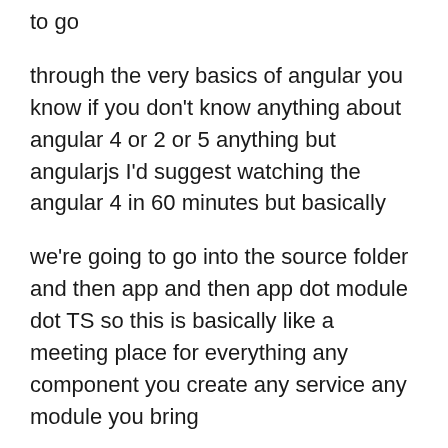to go
through the very basics of angular you know if you don't know anything about angular 4 or 2 or 5 anything but angularjs I'd suggest watching the angular 4 in 60 minutes but basically
we're going to go into the source folder and then app and then app dot module dot TS so this is basically like a meeting place for everything any component you create any service any module you bring
in has to go into this file alright and then it has